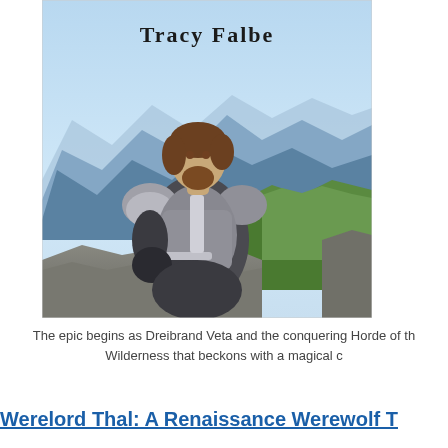[Figure (photo): Book cover for a fantasy novel by Tracy Falbe. Features a man in medieval knight armor holding a sword, set against a backdrop of blue mountain silhouettes and green forested hills under a light blue sky. The author name 'Tracy Falbe' is printed in bold serif font at the top of the cover.]
The epic begins as Dreibrand Veta and the conquering Horde of th... Wilderness that beckons with a magical c...
Werelord Thal: A Renaissance Werewolf T...